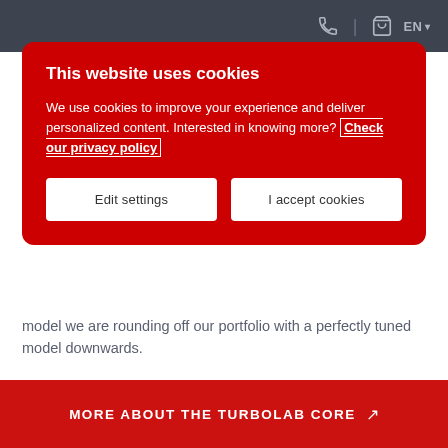EN
This website uses cookies
We use cookies to improve your experience and deliver personalized content. Interested in knowing more? Check our privacy policy
Edit settings
I accept cookies
model we are rounding off our portfolio with a perfectly tuned model downwards.
The TURBOLAB Core will convince users with excellent pumping performance, a good price-performance ratio as well as simple operation and ease of maintenance,!
MORE ABOUT THE TURBOLAB CORE ↗